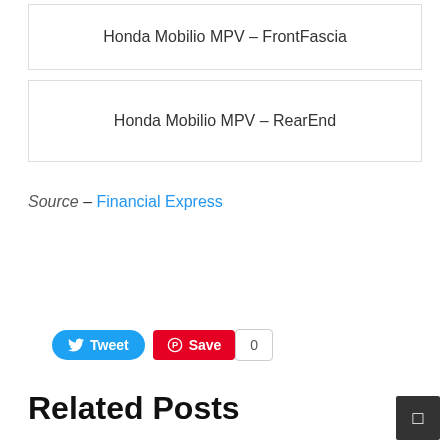Honda Mobilio MPV – FrontFascia
Honda Mobilio MPV – RearEnd
Source – Financial Express
[Figure (other): Social sharing buttons: Tweet (Twitter), Save (Pinterest), and a count showing 0]
Related Posts